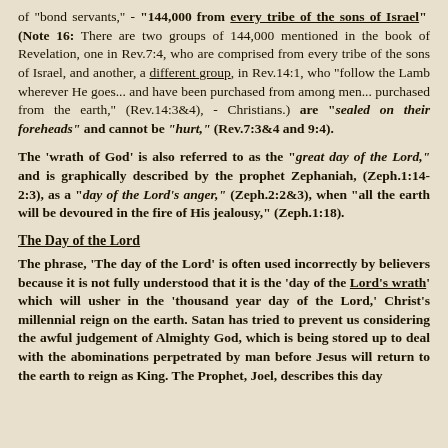of "bond servants," - "144,000 from every tribe of the sons of Israel" (Note 16: There are two groups of 144,000 mentioned in the book of Revelation, one in Rev.7:4, who are comprised from every tribe of the sons of Israel, and another, a different group, in Rev.14:1, who "follow the Lamb wherever He goes... and have been purchased from among men... purchased from the earth," (Rev.14:3&4), - Christians.) are "sealed on their foreheads" and cannot be "hurt," (Rev.7:3&4 and 9:4).
The 'wrath of God' is also referred to as the "great day of the Lord," and is graphically described by the prophet Zephaniah, (Zeph.1:14-2:3), as a "day of the Lord's anger," (Zeph.2:2&3), when "all the earth will be devoured in the fire of His jealousy," (Zeph.1:18).
The Day of the Lord
The phrase, 'The day of the Lord' is often used incorrectly by believers because it is not fully understood that it is the 'day of the Lord's wrath' which will usher in the 'thousand year day of the Lord,' Christ's millennial reign on the earth. Satan has tried to prevent us considering the awful judgement of Almighty God, which is being stored up to deal with the abominations perpetrated by man before Jesus will return to the earth to reign as King. The Prophet, Joel, describes this day